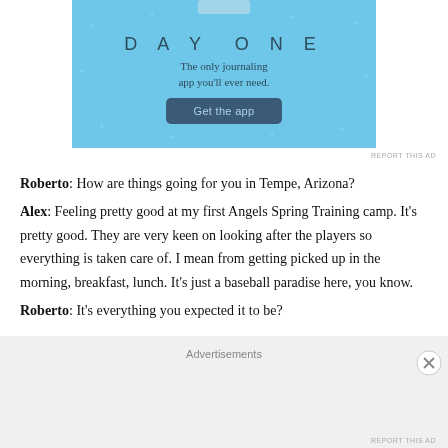[Figure (screenshot): Day One journaling app advertisement with blue background, star decorations, app name 'DAY ONE', tagline 'The only journaling app you'll ever need.', and a dark blue 'Get the app' button.]
REPORT THIS AD
Roberto: How are things going for you in Tempe, Arizona?
Alex: Feeling pretty good at my first Angels Spring Training camp. It's pretty good. They are very keen on looking after the players so everything is taken care of. I mean from getting picked up in the morning, breakfast, lunch. It's just a baseball paradise here, you know.
Roberto: It's everything you expected it to be?
Advertisements